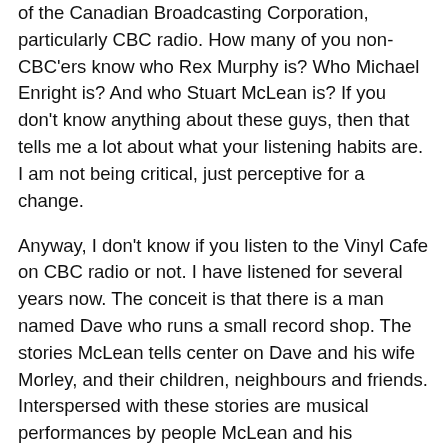of the Canadian Broadcasting Corporation, particularly CBC radio. How many of you non-CBC'ers know who Rex Murphy is? Who Michael Enright is? And who Stuart McLean is? If you don't know anything about these guys, then that tells me a lot about what your listening habits are. I am not being critical, just perceptive for a change.
Anyway, I don't know if you listen to the Vinyl Cafe on CBC radio or not. I have listened for several years now. The conceit is that there is a man named Dave who runs a small record shop. The stories McLean tells center on Dave and his wife Morley, and their children, neighbours and friends. Interspersed with these stories are musical performances by people McLean and his producers find regionally. He takes the show on the road from coast to coast. It is a marvelous, special program, the kind of show the CBC does best, and the kind of show no private broadcaster would touch with a ten foot pole. Once again, I am not trying to be critical of private broadcasters because several of them read this blog. I am just saying that some programs would not be a good fit for private broadcasters, and this is one of them.
I never thought I'd have an opportunity to attend one of